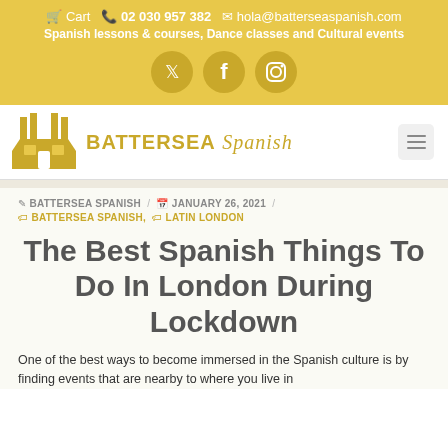🛒 Cart  📞 02 030 957 382  ✉ hola@batterseaspanish.com
Spanish lessons & courses, Dance classes and Cultural events
[Figure (logo): Social media icons: Twitter, Facebook, Instagram in golden circles]
[Figure (logo): Battersea Spanish logo with Battersea Power Station icon and text 'BATTERSEA Spanish']
✎ BATTERSEA SPANISH / 📅 JANUARY 26, 2021 /
🏷 BATTERSEA SPANISH, 🏷 LATIN LONDON
The Best Spanish Things To Do In London During Lockdown
One of the best ways to become immersed in the Spanish culture is by finding events that are nearby to where you live in...